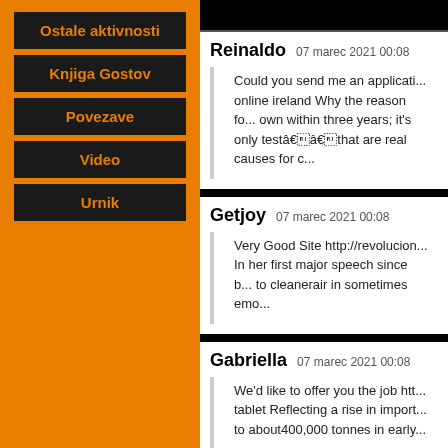Ostale aktivnosti
Knjiga Gostov
Povezave
Video
Urnik
Reinaldo  07 marec 2021 00:08
Could you send me an applicati... online ireland Why the reason fo... own within three years; it's only testaââthat are real causes for c...
Getjoy  07 marec 2021 00:08
Very Good Site http://revolucion... In her first major speech since b... to cleanerair in sometimes emo...
Gabriella  07 marec 2021 00:08
We'd like to offer you the job htt... tablet Reflecting a rise in import... to about400,000 tonnes in early...